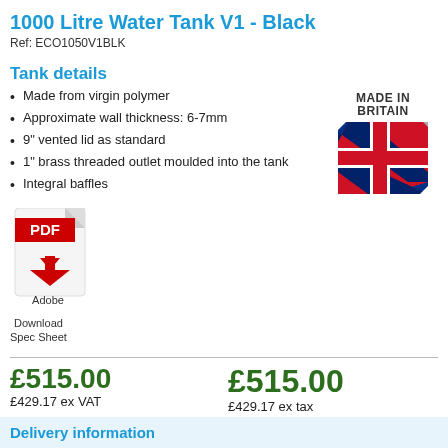1000 Litre Water Tank V1 - Black
Ref: ECO1050V1BLK
Tank details
Made from virgin polymer
Approximate wall thickness: 6-7mm
9" vented lid as standard
1" brass threaded outlet moulded into the tank
Integral baffles
[Figure (logo): Made in Britain logo with Union Jack arrow graphic]
[Figure (illustration): Adobe PDF icon with red PDF label]
Download Spec Sheet
£515.00
£429.17 ex VAT
£515.00
£429.17 ex tax
ADD TO CART
Delivery information